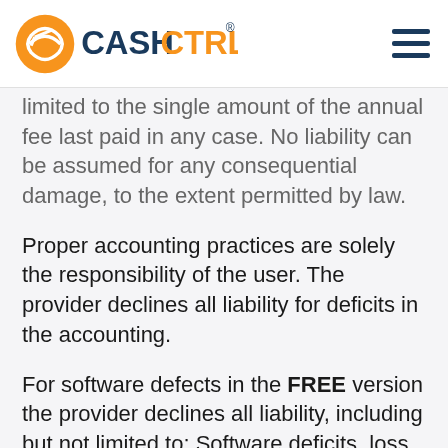CashCtrl logo and navigation
limited to the single amount of the annual fee last paid in any case. No liability can be assumed for any consequential damage, to the extent permitted by law.
Proper accounting practices are solely the responsibility of the user. The provider declines all liability for deficits in the accounting.
For software defects in the FREE version the provider declines all liability, including but not limited to: Software deficits, loss of data, or data stolen by attackers (hackers, viruses, etc.).